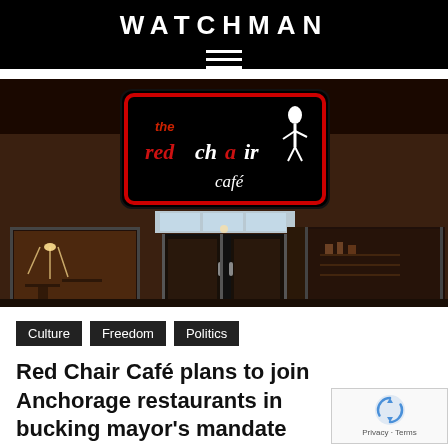WATCHMAN
[Figure (photo): Nighttime exterior photo of 'the red chair café' restaurant, showing illuminated signage with red and white lettering, glass entry doors, and interior visible through windows.]
Culture
Freedom
Politics
Red Chair Café plans to join Anchorage restaurants in bucking mayor's mandate